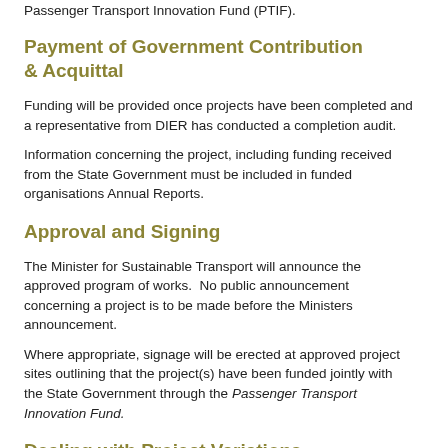The Panel will make recommendations to the Minister for Sustainable Transport for funding under the auspice of the Passenger Transport Innovation Fund (PTIF).
Payment of Government Contribution & Acquittal
Funding will be provided once projects have been completed and a representative from DIER has conducted a completion audit.
Information concerning the project, including funding received from the State Government must be included in funded organisations Annual Reports.
Approval and Signing
The Minister for Sustainable Transport will announce the approved program of works.  No public announcement concerning a project is to be made before the Ministers announcement.
Where appropriate, signage will be erected at approved project sites outlining that the project(s) have been funded jointly with the State Government through the Passenger Transport Innovation Fund.
Dealing with Project Variations